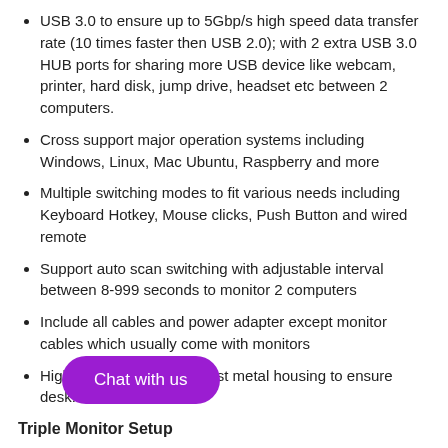USB 3.0 to ensure up to 5Gbp/s high speed data transfer rate (10 times faster then USB 2.0); with 2 extra USB 3.0 HUB ports for sharing more USB device like webcam, printer, hard disk, jump drive, headset etc between 2 computers.
Cross support major operation systems including Windows, Linux, Mac Ubuntu, Raspberry and more
Multiple switching modes to fit various needs including Keyboard Hotkey, Mouse clicks, Push Button and wired remote
Support auto scan switching with adjustable interval between 8-999 seconds to monitor 2 computers
Include all cables and power adapter except monitor cables which usually come with monitors
High-end protective anti-rust metal housing to ensure desk.
Chat with us
Triple Monitor Setup